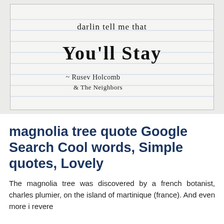[Figure (photo): Handwritten note on lined paper reading: 'darlin tell me that You'll Stay ~ Rusev Holcomb & The Neighbors']
magnolia tree quote Google Search Cool words, Simple quotes, Lovely
The magnolia tree was discovered by a french botanist, charles plumier, on the island of martinique (france). And even more i revere